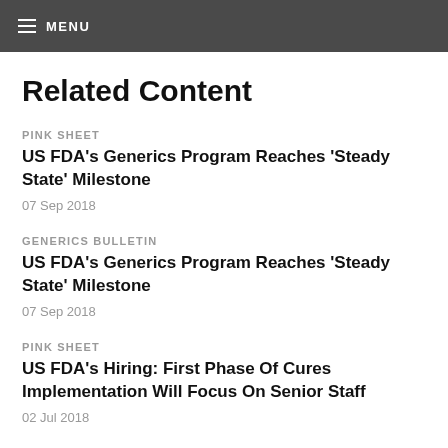MENU
Related Content
PINK SHEET
US FDA's Generics Program Reaches 'Steady State' Milestone
07 Sep 2018
GENERICS BULLETIN
US FDA's Generics Program Reaches 'Steady State' Milestone
07 Sep 2018
PINK SHEET
US FDA's Hiring: First Phase Of Cures Implementation Will Focus On Senior Staff
02 Jul 2018